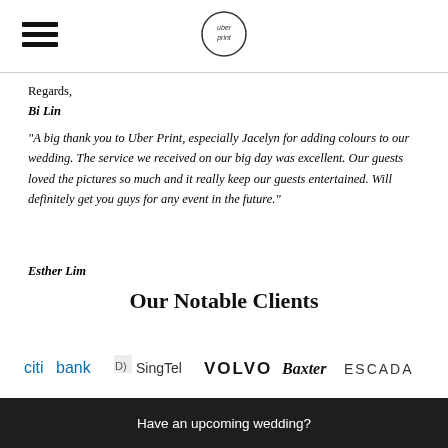[Figure (logo): Uber Print logo in circle at top center]
Regards,
Bi Lin
"A big thank you to Uber Print, especially Jacelyn for adding colours to our wedding. The service we received on our big day was excellent. Our guests loved the pictures so much and it really keep our guests entertained. Will definitely get you guys for any event in the future."
Esther Lim
Our Notable Clients
[Figure (logo): Logos of notable clients: Citibank, SingTel, Volvo, Baxter, Escada]
Have an upcoming wedding?